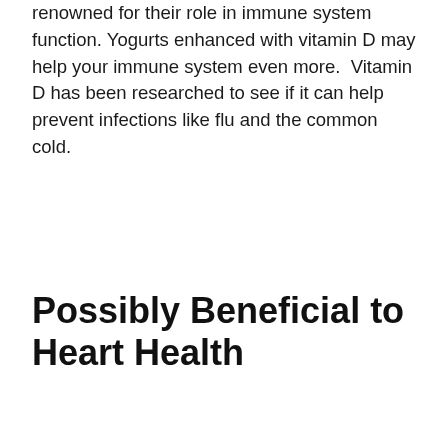renowned for their role in immune system function. Yogurts enhanced with vitamin D may help your immune system even more. Vitamin D has been researched to see if it can help prevent infections like flu and the common cold.
Possibly Beneficial to Heart Health